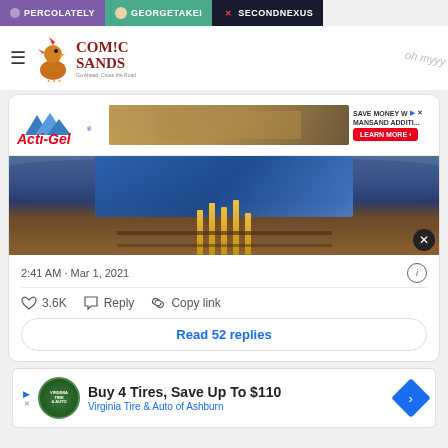PERCOLATELY | GEORGETAKEI | SECONDNEXUS
[Figure (screenshot): Comic Sands website header with rooster logo and hamburger menu]
[Figure (screenshot): Acti-Gel advertisement banner with construction worker image, LEARN MORE button]
[Figure (photo): Flooded area with fence posts/stakes partially submerged in water]
2:41 AM · Mar 1, 2021
3.6K   Reply   Copy link
Read 52 replies
[Figure (screenshot): Buy 4 Tires, Save Up To $110 - Virginia Tire & Auto of Ashburn advertisement]